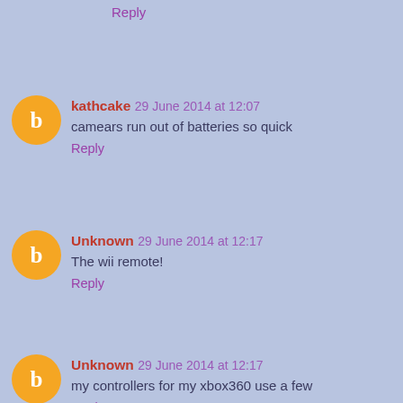Reply
kathcake 29 June 2014 at 12:07
camears run out of batteries so quick
Reply
Unknown 29 June 2014 at 12:17
The wii remote!
Reply
Unknown 29 June 2014 at 12:17
my controllers for my xbox360 use a few
Reply
Unknown 29 June 2014 at 12:17